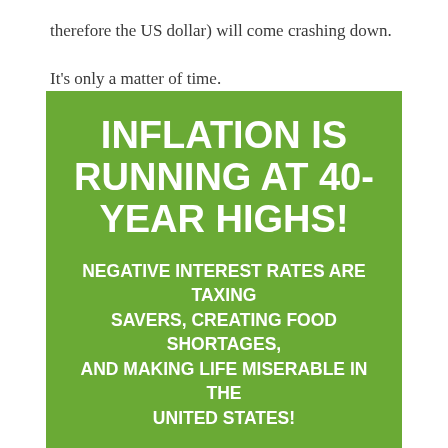therefore the US dollar) will come crashing down.
It's only a matter of time.
Hat tip Infowars.com, Zero Hedge
[Figure (infographic): Green banner with white bold text reading 'INFLATION IS RUNNING AT 40-YEAR HIGHS!' and subtext 'NEGATIVE INTEREST RATES ARE TAXING SAVERS, CREATING FOOD SHORTAGES, AND MAKING LIFE MISERABLE IN THE UNITED STATES!']